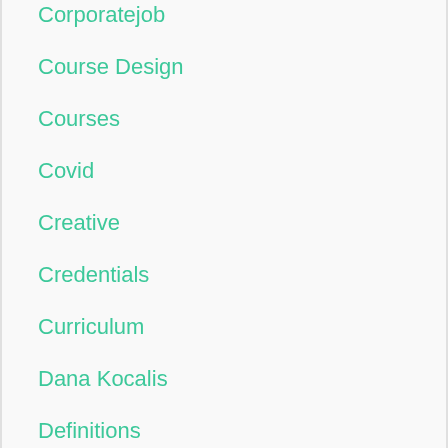Corporatejob
Course Design
Courses
Covid
Creative
Credentials
Curriculum
Dana Kocalis
Definitions
Design Thinking